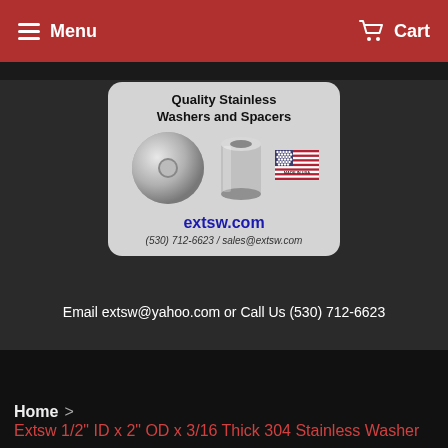Menu   Cart
[Figure (logo): extsw.com logo featuring Quality Stainless Washers and Spacers with images of a washer and a spacer, US flag, website extsw.com, phone (530) 712-6623 / sales@extsw.com]
Email extsw@yahoo.com or Call Us (530) 712-6623
Home > Extsw 1/2" ID x 2" OD x 3/16 Thick 304 Stainless Washer